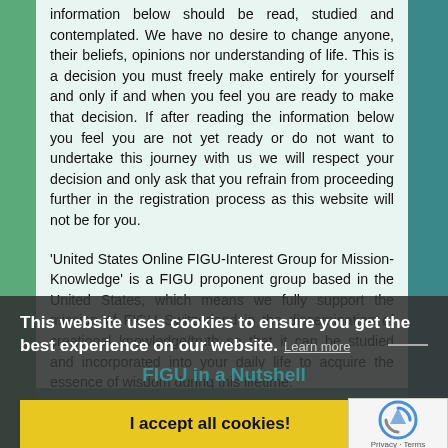information below should be read, studied and contemplated. We have no desire to change anyone, their beliefs, opinions nor understanding of life. This is a decision you must freely make entirely for yourself and only if and when you feel you are ready to make that decision. If after reading the information below you feel you are not yet ready or do not want to undertake this journey with us we will respect your decision and only ask that you refrain from proceeding further in the registration process as this website will not be for you.
'United States Online FIGU-Interest Group for Mission-Knowledge' is a FIGU proponent group based in the United States, which means we fully support the mission of FIGU Switzerland in the dissemination of creational knowledge/truth so that it can be studied and incorporated into your daily life to acquire the essence of wisdom during this lifetime.
This website uses cookies to ensure you get the best experience on our website. Learn more
FIGU in a Nutshell
I accept all cookies!
[Figure (logo): reCAPTCHA logo with Privacy and Terms text]